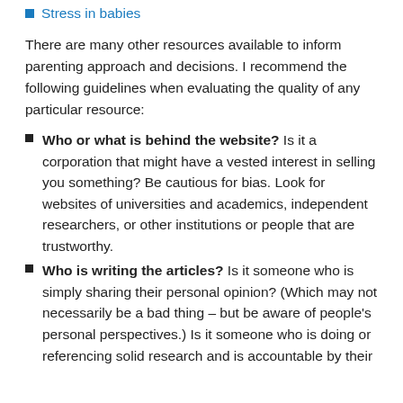Stress in babies
There are many other resources available to inform parenting approach and decisions. I recommend the following guidelines when evaluating the quality of any particular resource:
Who or what is behind the website? Is it a corporation that might have a vested interest in selling you something? Be cautious for bias. Look for websites of universities and academics, independent researchers, or other institutions or people that are trustworthy.
Who is writing the articles? Is it someone who is simply sharing their personal opinion? (Which may not necessarily be a bad thing – but be aware of people's personal perspectives.) Is it someone who is doing or referencing solid research and is accountable by their...